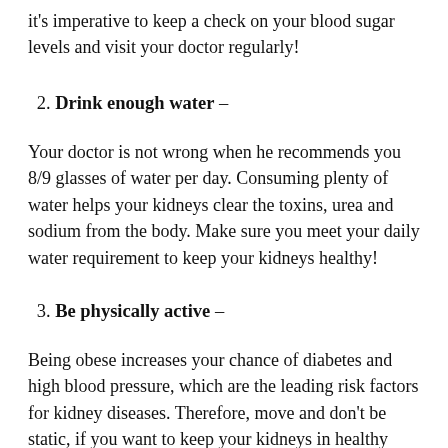it's imperative to keep a check on your blood sugar levels and visit your doctor regularly!
2. Drink enough water –
Your doctor is not wrong when he recommends you 8/9 glasses of water per day. Consuming plenty of water helps your kidneys clear the toxins, urea and sodium from the body. Make sure you meet your daily water requirement to keep your kidneys healthy!
3. Be physically active –
Being obese increases your chance of diabetes and high blood pressure, which are the leading risk factors for kidney diseases. Therefore, move and don't be static, if you want to keep your kidneys in healthy shape. Being physically inactive can also